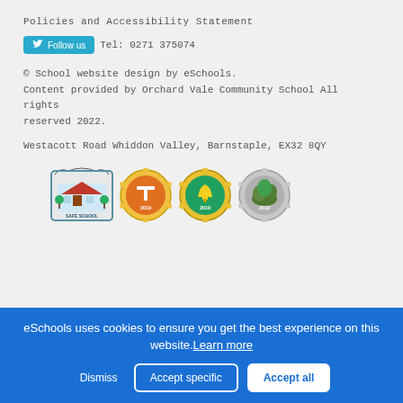Policies and Accessibility Statement
Follow us  Tel: 0271 375074
© School website design by eSchools. Content provided by Orchard Vale Community School All rights reserved 2022.
Westacott Road Whiddon Valley, Barnstaple, EX32 8QY
[Figure (logo): Four award badges: Safe School badge, Talent Expert 2019 gold badge, Town Crier 2019 gold badge, and another 2019 silver badge]
eSchools uses cookies to ensure you get the best experience on this website. Learn more
Dismiss  Accept specific  Accept all